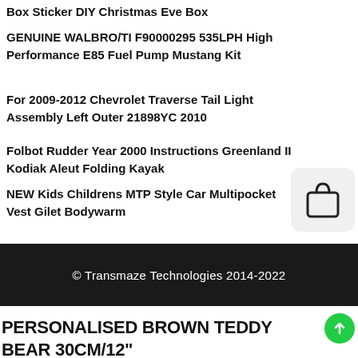Box Sticker DIY Christmas Eve Box
GENUINE WALBRO/TI F90000295 535LPH High Performance E85 Fuel Pump Mustang Kit
For 2009-2012 Chevrolet Traverse Tail Light Assembly Left Outer 21898YC 2010
Folbot Rudder Year 2000 Instructions Greenland II Kodiak Aleut Folding Kayak
NEW Kids Childrens MTP Style Car Multipocket Vest Gilet Bodywarm
[Figure (illustration): Shopping bag icon on a light grey rounded rectangle background]
© Transmaze Technologies 2014-2022
PERSONALISED BROWN TEDDY BEAR 30CM/12" NEW BORN PAGE BOY ANY OCCASION